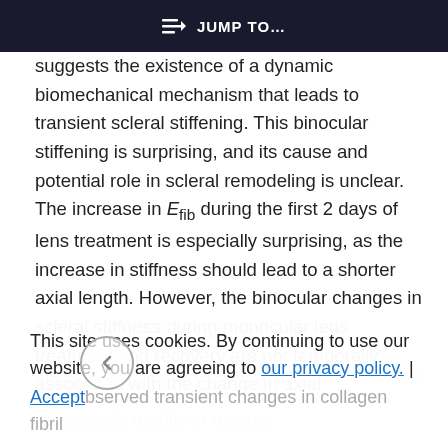≡▷ JUMP TO…
suggests the existence of a dynamic biomechanical mechanism that leads to transient scleral stiffening. This binocular stiffening is surprising, and its cause and potential role in scleral remodeling is unclear. The increase in E_fib during the first 2 days of lens treatment is especially surprising, as the increase in stiffness should lead to a shorter axial length. However, the binocular changes in scleral stiffness during monocular lens treatment and recovery are not temporally associated with the change in axial elongation, indicating that scleral stiffening may not
This site uses cookies. By continuing to use our website, you are agreeing to our privacy policy. Accept
bserved transient changes in collagen fibril